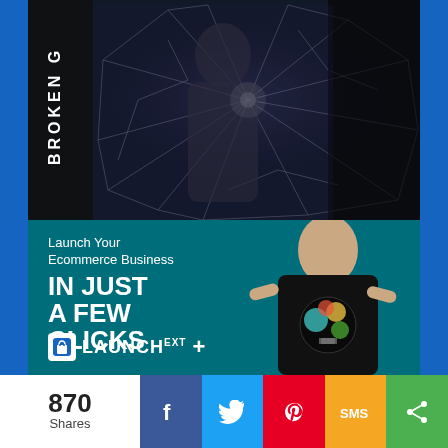[Figure (photo): Book cover with 'BROKEN G' text on spine, man standing in front of shattered glass background, dark dramatic lighting]
[Figure (illustration): Advertisement banner: teal background, man wearing black t-shirt with colorful lightbulb design, text 'Launch Your Ecommerce Business IN JUST A FEW CLICKS' with Launch logo]
Launch Your Ecommerce Business
IN JUST A FEW CLICKS
🛒LAUNCH: +
870 Shares